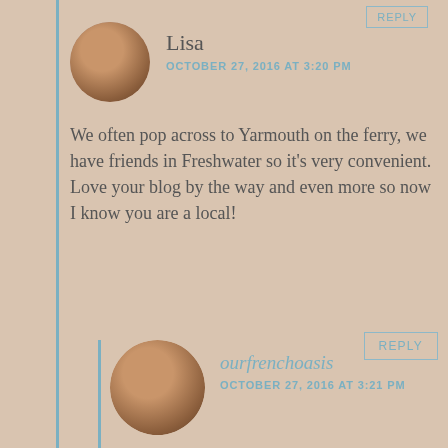REPLY
Lisa
OCTOBER 27, 2016 AT 3:20 PM
We often pop across to Yarmouth on the ferry, we have friends in Freshwater so it's very convenient. Love your blog by the way and even more so now I know you are a local!
REPLY
[Figure (photo): Circular avatar photo of a woman with blonde/brown hair]
ourfrenchoasis
OCTOBER 27, 2016 AT 3:21 PM
Thanks so much Lisa, give my love to the Island next time you are over there, Millie is sailing there today, I am just a little bit envious!...